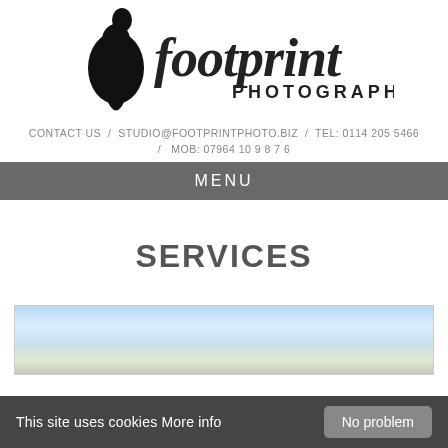[Figure (logo): Footprint Photography logo with a black footprint/inkdrop shape on the left and stylized text 'footprint PHOTOGRAPHY']
CONTACT US / STUDIO@FOOTPRINTPHOTO.BIZ / TEL: 0114 205 5466 / MOB: 07964 10 9 8 7 6
MENU
SERVICES
[Figure (photo): Partial photo showing a sky with blue gradient, likely an outdoor scene]
This site uses cookies More info
No problem